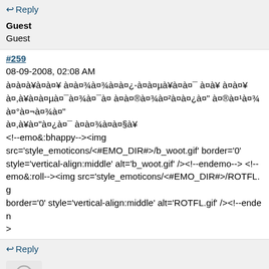↩ Reply
Guest
Guest
#259
08-09-2008, 02:08 AM
à¤à¤à¥à¤à¥ à¤à¤¾à¤à¤¿-à¤à¤µà¥à¤¯ à¤à¥ à¤à¥à¤,à¥à¤µà¤¯à¤¯à¤ à¤à¤à¥à¤ à¤®à¤¾à¤²à¤à¤¿à¤" à¤®à¤¹à¤¾à¤°à¤¾à¤"
à¤,à¥à¤"à¤¿à¤¯ à¤à¤¾à¤à¤§à¥
<!--emo&:bhappy--><img src='style_emoticons/<#EMO_DIR#>/b_woot.gif' border='0' style='vertical-align:middle' alt='b_woot.gif' /><!--endemo--> <!--emo&:roll--><img src='style_emoticons/<#EMO_DIR#>/ROTFL.g border='0' style='vertical-align:middle' alt='ROTFL.gif' /><!--enden>
>
↩ Reply
[Figure (illustration): Avatar silhouette of a person (grey outline figure)]
Shambhu
Posting Freak
★★★★
Joined: May 2005
Posts: 1,242